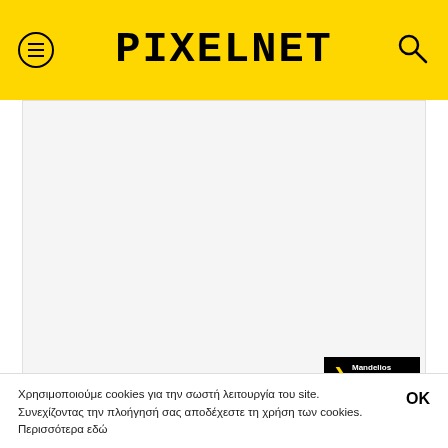PIXELNET
[Figure (photo): Large white/blank main content image area with a Mandelios Sports badge in the bottom right corner]
Χρησιμοποιούμε cookies για την σωστή λειτουργία του site. Συνεχίζοντας την πλοήγησή σας αποδέχεστε τη χρήση των cookies. Περισσότερα εδώ